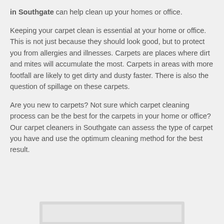in Southgate can help clean up your homes or office.
Keeping your carpet clean is essential at your home or office. This is not just because they should look good, but to protect you from allergies and illnesses. Carpets are places where dirt and mites will accumulate the most. Carpets in areas with more footfall are likely to get dirty and dusty faster. There is also the question of spillage on these carpets.
Are you new to carpets? Not sure which carpet cleaning process can be the best for the carpets in your home or office? Our carpet cleaners in Southgate can assess the type of carpet you have and use the optimum cleaning method for the best result.
[Figure (other): A partially visible box/card element at the bottom of the page]